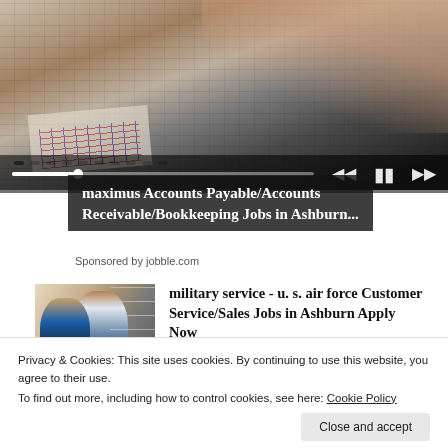[Figure (photo): Person using a calculator at a desk with a laptop and financial charts/papers visible. Video player controls overlay (progress bar, skip/pause buttons) at the bottom.]
maximus Accounts Payable/Accounts Receivable/Bookkeeping Jobs in Ashburn...
Sponsored by jobble.com
[Figure (photo): Two people (retail workers or shoppers) in a store aisle with shelves of products in background.]
military service - u. s. air force Customer Service/Sales Jobs in Ashburn Apply Now
Glassdoor.com - Company Salaries and Reviews
Privacy & Cookies: This site uses cookies. By continuing to use this website, you agree to their use.
To find out more, including how to control cookies, see here: Cookie Policy
Close and accept